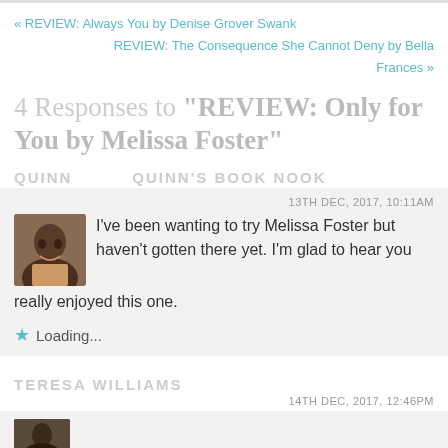« REVIEW: Always You by Denise Grover Swank
REVIEW: The Consequence She Cannot Deny by Bella Frances »
4 Responses to "REVIEW: Only for You by Melissa Foster"
QUINN   QUINN'S BOOK NOOK
13TH DEC, 2017, 10:11AM
I've been wanting to try Melissa Foster but haven't gotten there yet. I'm glad to hear you really enjoyed this one.
Loading...
TERESA WILLIAMS
14TH DEC, 2017, 12:46PM